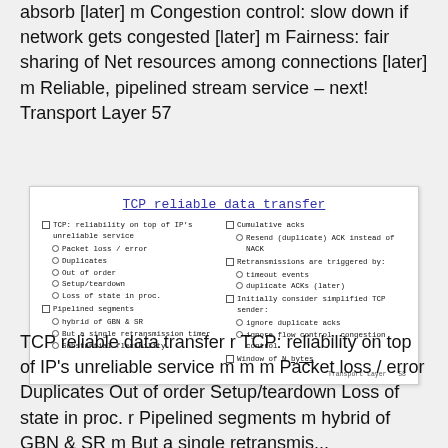absorb [later] m Congestion control: slow down if network gets congested [later] m Fairness: fair sharing of Net resources among connections [later] m Reliable, pipelined stream service – next! Transport Layer 57
[Figure (screenshot): Lecture slide titled 'TCP reliable data transfer' with two columns of bullet points covering TCP reliability, pipelined segments, cumulative acks, retransmissions, simplified TCP sender, and window of N bytes. Footer reads 'Transport Layer 58'.]
TCP reliable data transfer r TCP: reliability on top of IP's unreliable service m m m Packet loss / error Duplicates Out of order Setup/teardown Loss of state in proc. r Pipelined segments m hybrid of GBN & SR m But a single retransmis...